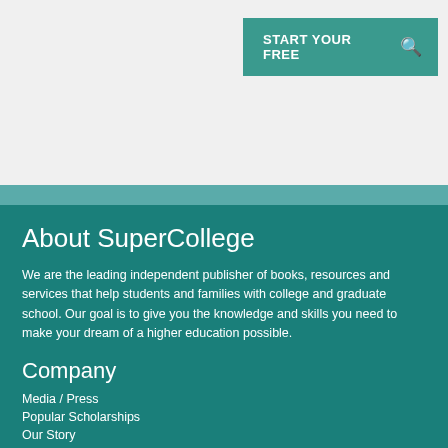START YOUR FREE
About SuperCollege
We are the leading independent publisher of books, resources and services that help students and families with college and graduate school. Our goal is to give you the knowledge and skills you need to make your dream of a higher education possible.
Company
Media / Press
Popular Scholarships
Our Story
Connect